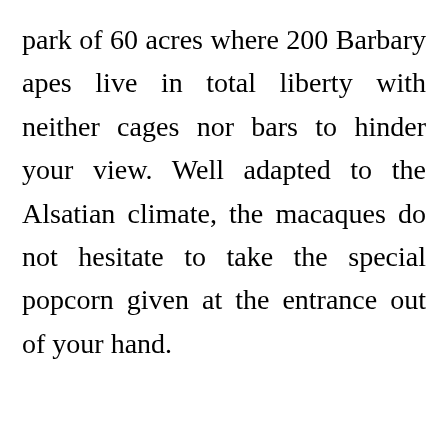park of 60 acres where 200 Barbary apes live in total liberty with neither cages nor bars to hinder your view. Well adapted to the Alsatian climate, the macaques do not hesitate to take the special popcorn given at the entrance out of your hand.